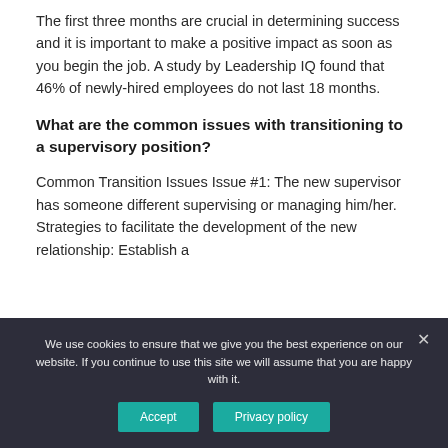The first three months are crucial in determining success and it is important to make a positive impact as soon as you begin the job. A study by Leadership IQ found that 46% of newly-hired employees do not last 18 months.
What are the common issues with transitioning to a supervisory position?
Common Transition Issues Issue #1: The new supervisor has someone different supervising or managing him/her. Strategies to facilitate the development of the new relationship: Establish a
We use cookies to ensure that we give you the best experience on our website. If you continue to use this site we will assume that you are happy with it.